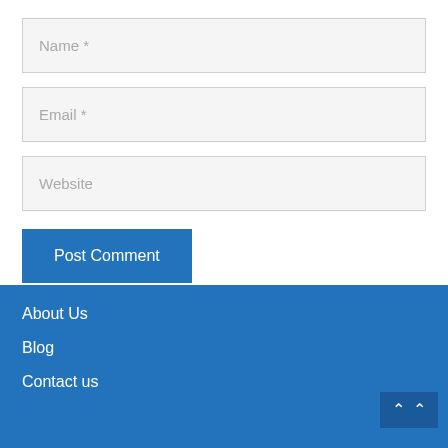Name *
Email *
Website
Post Comment
About Us
Blog
Contact us